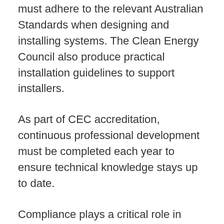must adhere to the relevant Australian Standards when designing and installing systems. The Clean Energy Council also produce practical installation guidelines to support installers.
As part of CEC accreditation, continuous professional development must be completed each year to ensure technical knowledge stays up to date.
Compliance plays a critical role in maintaining the value of CEC Accreditation. When the CEC is made aware of a solar design or installation that does not meet relevant Australian Standards, CEC